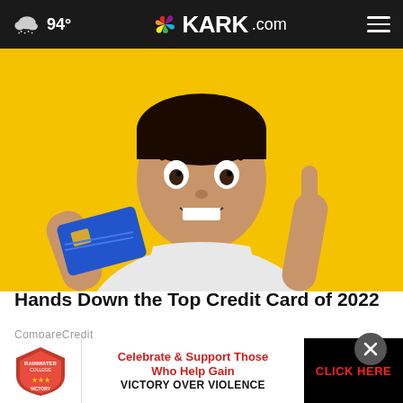94° KARK.com
[Figure (photo): Young man holding a blue credit card and pointing upward with one finger, smiling with excited expression, wearing a white t-shirt against a yellow background]
Hands Down the Top Credit Card of 2022
CompareCredit
[Figure (photo): Partial view of a person in a suit, partially visible at bottom of page]
[Figure (infographic): Advertisement banner: Rainwater College Difference Makers Award Victory - Celebrate & Support Those Who Help Gain VICTORY OVER VIOLENCE - CLICK HERE button]